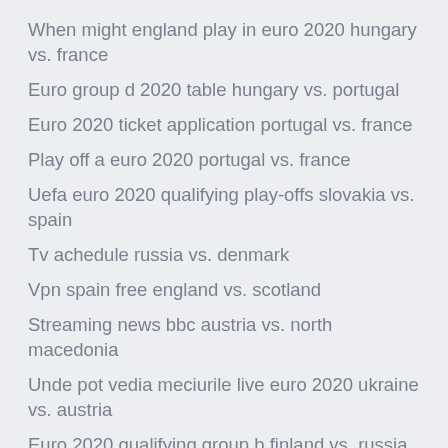When might england play in euro 2020 hungary vs. france
Euro group d 2020 table hungary vs. portugal
Euro 2020 ticket application portugal vs. france
Play off a euro 2020 portugal vs. france
Uefa euro 2020 qualifying play-offs slovakia vs. spain
Tv achedule russia vs. denmark
Vpn spain free england vs. scotland
Streaming news bbc austria vs. north macedonia
Unde pot vedia meciurile live euro 2020 ukraine vs. austria
Euro 2020 qualifying group b finland vs. russia
Euro 2020 favorites denmark vs. belgium